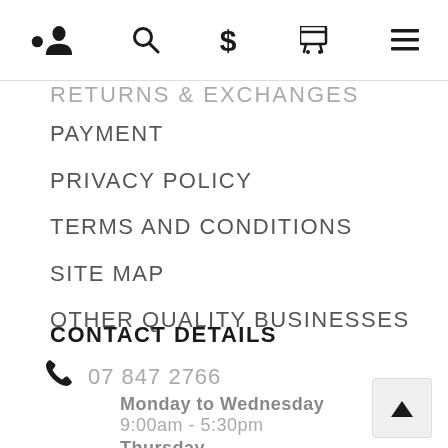Navigation bar with icons: user, search, dollar, cart, menu
RETURNS & EXCHANGES (partially visible)
PAYMENT
PRIVACY POLICY
TERMS AND CONDITIONS
SITE MAP
OTHER QUALITY BUSINESSES
CONTACT DETAILS
07 847 2766
Monday to Wednesday
9:00am - 5:30pm
Thursday